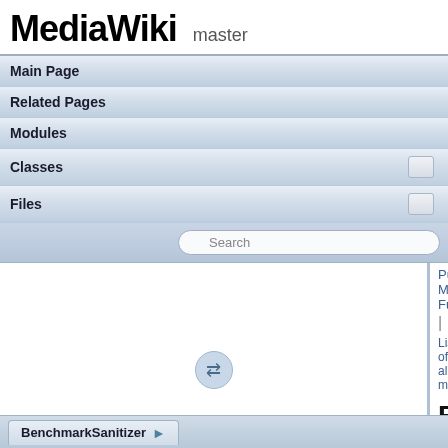MediaWiki master
Main Page
Related Pages
Modules
Classes
Files
Search
Public Member Func
List of all members
BenchmarkSanitizer Class Reference
BenchmarkSanitizer